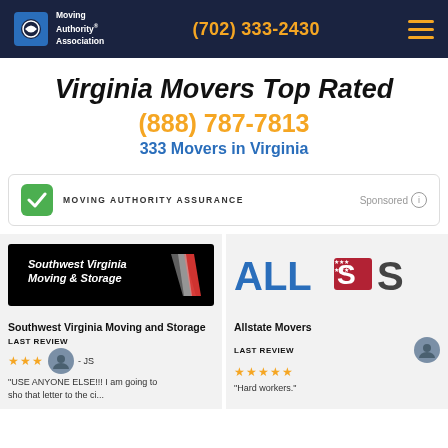Moving Authority Association | (702) 333-2430
Virginia Movers Top Rated
(888) 787-7813
333 Movers in Virginia
MOVING AUTHORITY ASSURANCE | Sponsored
[Figure (logo): Southwest Virginia Moving and Storage logo on black background]
Southwest Virginia Moving and Storage
LAST REVIEW
★★★
- JS
"USE ANYONE ELSE!!! I am going to...
[Figure (logo): Allstate Movers logo with US map graphic]
Allstate Movers
LAST REVIEW
★★★★★
"Hard workers."